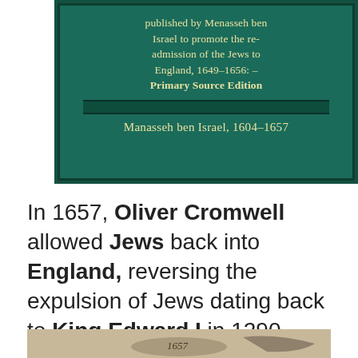[Figure (photo): Book cover with dark teal/green background showing title text about Manasseh ben Israel promoting re-admission of Jews to England, 1649-1656, Primary Source Edition, with ornamental border. Author listed as Manasseh ben Israel, 1604-1657.]
In 1657, Oliver Cromwell allowed Jews back into England, reversing the expulsion of Jews dating back to King Edward I in 1290.
[Figure (photo): Partial image of a historical document or illustration, partially cropped at bottom of page.]